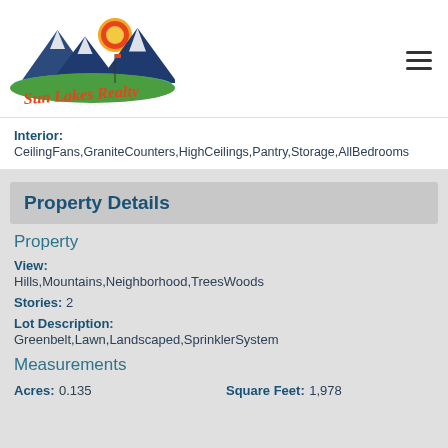[Figure (logo): Sun Lakes Realty logo with mountains, sun, lake, and script text]
Interior: CeilingFans,GraniteCounters,HighCeilings,Pantry,Storage,AllBedrooms
Property Details
Property
View: Hills,Mountains,Neighborhood,TreesWoods
Stories: 2
Lot Description: Greenbelt,Lawn,Landscaped,SprinklerSystem
Measurements
Acres: 0.135    Square Feet: 1,978